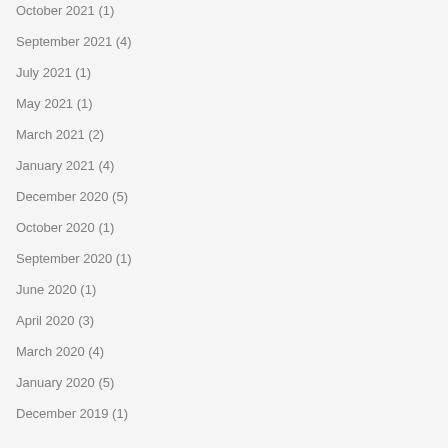October 2021 (1)
September 2021 (4)
July 2021 (1)
May 2021 (1)
March 2021 (2)
January 2021 (4)
December 2020 (5)
October 2020 (1)
September 2020 (1)
June 2020 (1)
April 2020 (3)
March 2020 (4)
January 2020 (5)
December 2019 (1)